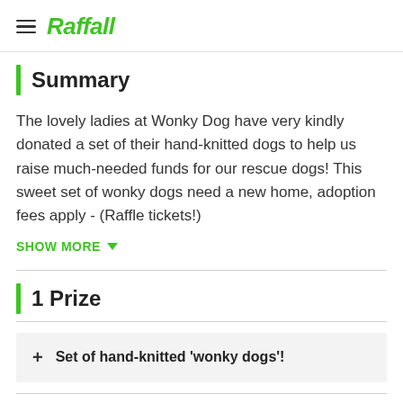Raffall
Summary
The lovely ladies at Wonky Dog have very kindly donated a set of their hand-knitted dogs to help us raise much-needed funds for our rescue dogs! This sweet set of wonky dogs need a new home, adoption fees apply - (Raffle tickets!)
SHOW MORE
1 Prize
+ Set of hand-knitted 'wonky dogs'!
Raffle Ended